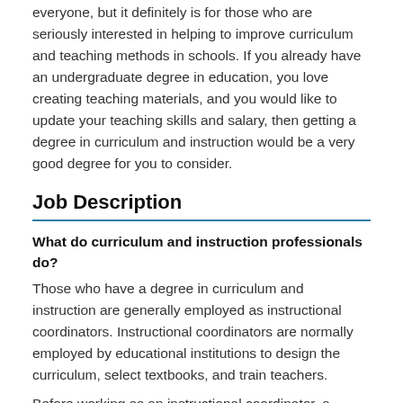everyone, but it definitely is for those who are seriously interested in helping to improve curriculum and teaching methods in schools. If you already have an undergraduate degree in education, you love creating teaching materials, and you would like to update your teaching skills and salary, then getting a degree in curriculum and instruction would be a very good degree for you to consider.
Job Description
What do curriculum and instruction professionals do?
Those who have a degree in curriculum and instruction are generally employed as instructional coordinators. Instructional coordinators are normally employed by educational institutions to design the curriculum, select textbooks, and train teachers.
Before working as an instructional coordinator, a